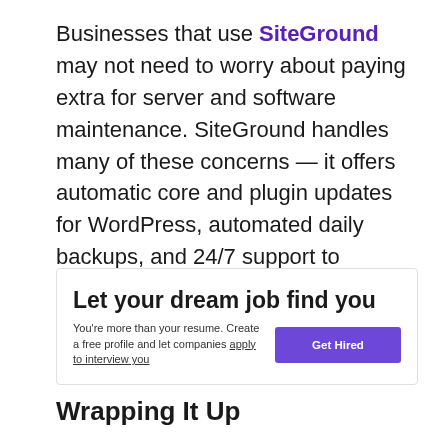Businesses that use SiteGround may not need to worry about paying extra for server and software maintenance. SiteGround handles many of these concerns — it offers automatic core and plugin updates for WordPress, automated daily backups, and 24/7 support to provide assistance above and beyond fixing server issues.
[Figure (infographic): Advertisement box with heading 'Let your dream job find you', subtext 'You're more than your resume. Create a free profile and let companies apply to interview you', and a purple 'Get Hired' button.]
Wrapping It Up